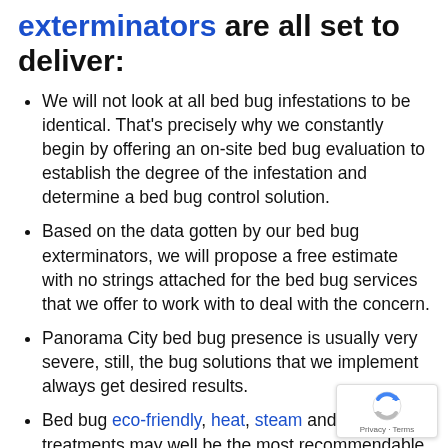exterminators are all set to deliver:
We will not look at all bed bug infestations to be identical. That's precisely why we constantly begin by offering an on-site bed bug evaluation to establish the degree of the infestation and determine a bed bug control solution.
Based on the data gotten by our bed bug exterminators, we will propose a free estimate with no strings attached for the bed bug services that we offer to work with to deal with the concern.
Panorama City bed bug presence is usually very severe, still, the bug solutions that we implement always get desired results.
Bed bug eco-friendly, heat, steam and cryo treatments may well be the most recommendable